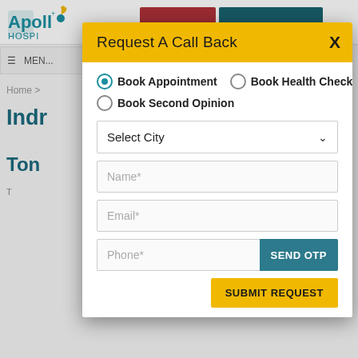[Figure (screenshot): Apollo Hospitals website background showing logo, navigation bar, breadcrumb, and partially visible page title 'Indr...' and 'Ton...']
Request A Call Back
Book Appointment (selected radio button)
Book Health Check
Book Second Opinion
Select City (dropdown)
Name*
Email*
Phone*
SEND OTP
SUBMIT REQUEST